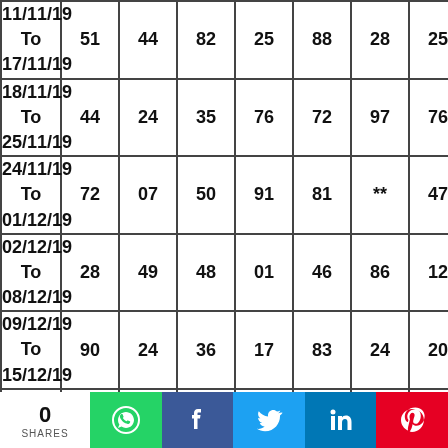| Date | Col1 | Col2 | Col3 | Col4 | Col5 | Col6 | Col7 |
| --- | --- | --- | --- | --- | --- | --- | --- |
| 11/11/19 To 17/11/19 | 51 | 44 | 82 | 25 | 88 | 28 | 25 |
| 18/11/19 To 25/11/19 | 44 | 24 | 35 | 76 | 72 | 97 | 76 |
| 24/11/19 To 01/12/19 | 72 | 07 | 50 | 91 | 81 | ** | 47 |
| 02/12/19 To 08/12/19 | 28 | 49 | 48 | 01 | 46 | 86 | 12 |
| 09/12/19 To 15/12/19 | 90 | 24 | 36 | 17 | 83 | 24 | 20 |
| 16/12/19 To 22/12/19 | 69 | 67 | 87 | 67 | 09 | 47 | 00 |
| 23/12/19 To 29/12/19 | 36 | 50 | 18 | 25 | 85 | Refresh |  |
0 SHARES | WhatsApp | Facebook | Twitter | LinkedIn | Pinterest